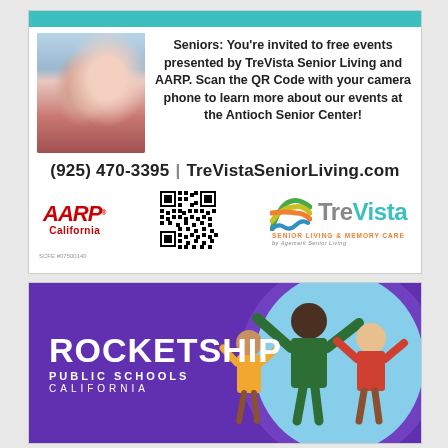[Figure (infographic): TreVista Senior Living and AARP advertisement. Teal banner at top. Photo of two women (elderly and younger). Text: 'Seniors: You're invited to free events presented by TreVista Senior Living and AARP. Scan the QR Code with your camera phone to learn more about our events at the Antioch Senior Center!' Phone: (925) 470-3395 | TreVistaSeniorLiving.com. AARP California logo, QR code, TreVista Senior Living & Memory Care logo.]
[Figure (infographic): Rocketship Public Schools California advertisement. Purple background with white bold text 'ROCKETSHIP PUBLIC SCHOOLS CALIFORNIA'. Children with arms raised visible on right side.]